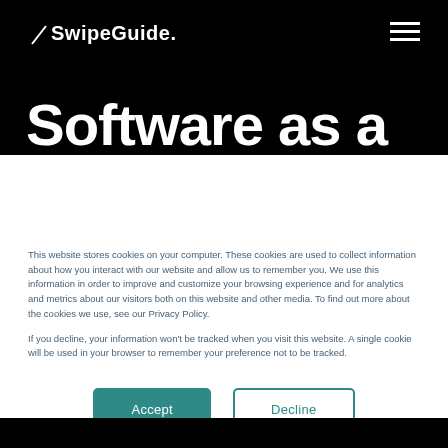SwipeGuide.
Software as a Service
This website stores cookies on your computer. These cookies are used to collect information about how you interact with our website and allow us to remember you. We use this information in order to improve and customize your browsing experience and for analytics and metrics about our visitors both on this website and other media. To find out more about the cookies we use, see our Privacy Policy.

If you decline, your information won't be tracked when you visit this website. A single cookie will be used in your browser to remember your preference not to be tracked.
Accept
Decline